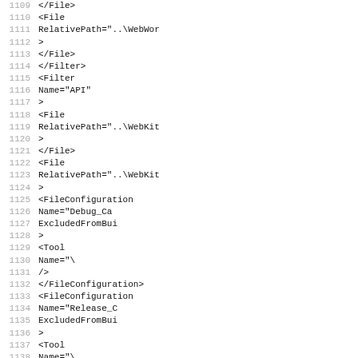Code listing lines 1109-1141, XML project file snippet showing File and Filter elements with RelativePath, FileConfiguration, and Tool sub-elements